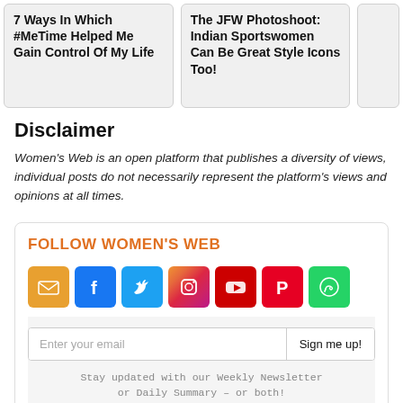7 Ways In Which #MeTime Helped Me Gain Control Of My Life
The JFW Photoshoot: Indian Sportswomen Can Be Great Style Icons Too!
Disclaimer
Women's Web is an open platform that publishes a diversity of views, individual posts do not necessarily represent the platform's views and opinions at all times.
FOLLOW WOMEN'S WEB
[Figure (infographic): Social media follow icons: email, Facebook, Twitter, Instagram, YouTube, Pinterest, WhatsApp]
Enter your email  Sign me up!
Stay updated with our Weekly Newsletter or Daily Summary – or both!